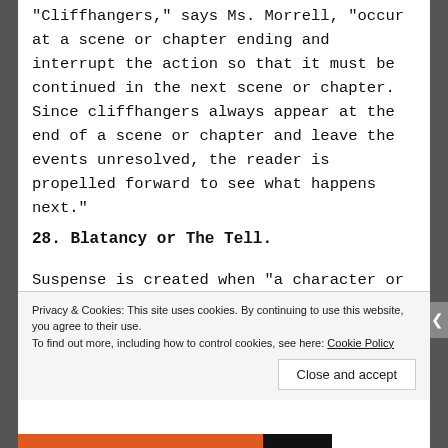“Cliffhangers,” says Ms. Morrell, “occur at a scene or chapter ending and interrupt the action so that it must be continued in the next scene or chapter.  Since cliffhangers always appear at the end of a scene or chapter and leave the events unresolved, the reader is propelled forward to see what happens next.”
28. Blatancy or The Tell.
Suspense is created when “a character or narrator speaks directly to the reader about what has
Privacy & Cookies: This site uses cookies. By continuing to use this website, you agree to their use.
To find out more, including how to control cookies, see here: Cookie Policy
Close and accept